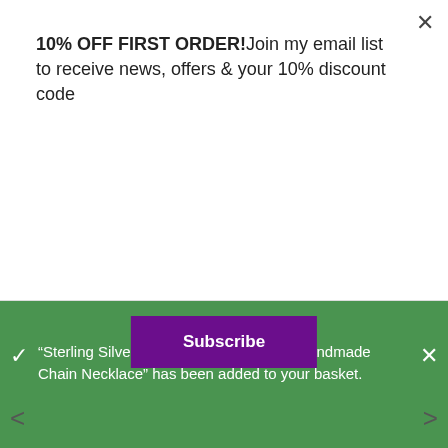10% OFF FIRST ORDER!Join my email list to receive news, offers & your 10% discount code
Subscribe
[Figure (photo): Close-up photo of a silver chain necklace with small pendant on a light grey background, with left and right navigation arrows]
VIEW BASKET
"Sterling Silver Hydrangea Flower Bud Handmade Chain Necklace" has been added to your basket.